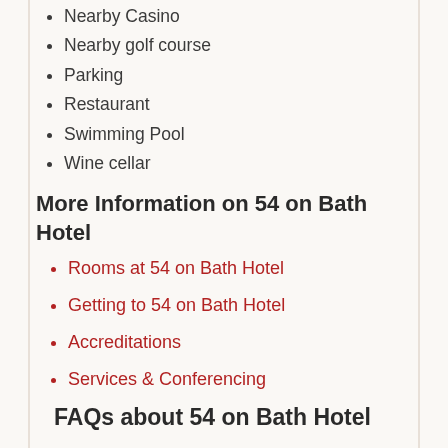Nearby Casino
Nearby golf course
Parking
Restaurant
Swimming Pool
Wine cellar
More Information on 54 on Bath Hotel
Rooms at 54 on Bath Hotel
Getting to 54 on Bath Hotel
Accreditations
Services & Conferencing
FAQs about 54 on Bath Hotel
What is the contact number for reservations?
The contact numbers to make a reservation at 54 on Bath Hotel are: